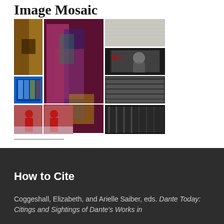Image Mosaic
[Figure (photo): A mosaic grid of 9 images showing various artworks and scenes: amber/dark sculpture, colorful abstract dance figures, white furry/feathery texture, blue architecture, King of Hearts playing card with face-covering figure, colorful autumn forest, minimalist room installation, black-and-white architectural detail, red-robed dancers in snow, brown floor installation, black-and-white industrial/mechanical detail]
How to Cite
Coggeshall, Elizabeth, and Arielle Saiber, eds. Dante Today: Citings and Sightings of Dante's Works in